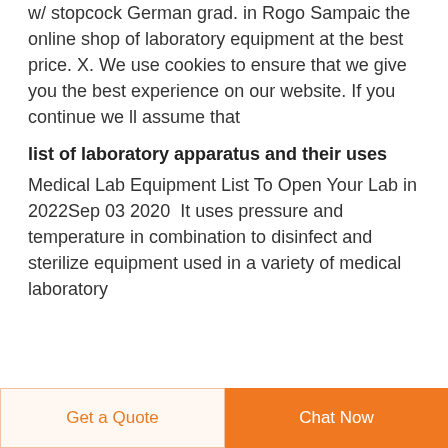w/ stopcock German grad. in Rogo Sampaic the online shop of laboratory equipment at the best price. X. We use cookies to ensure that we give you the best experience on our website. If you continue we ll assume that
list of laboratory apparatus and their uses
Medical Lab Equipment List To Open Your Lab in 2022Sep 03 2020  It uses pressure and temperature in combination to disinfect and sterilize equipment used in a variety of medical laboratory
Get a Quote  Chat Now